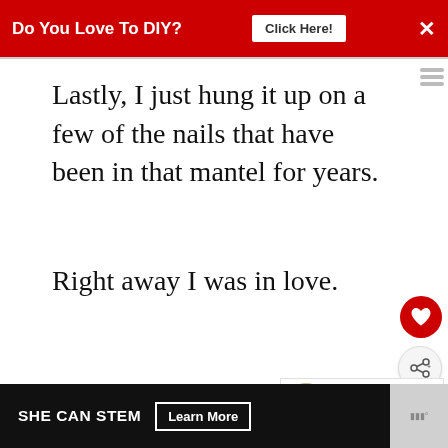Do You Love To DIY?  Click Here!  ×
Lastly, I just hung it up on a few of the nails that have been in that mantel for years.
Right away I was in love.
And I remembered why I'd been with banners for all those years.
[Figure (other): WHAT'S NEXT arrow thumbnail for Fall Book Page Leaf...]
SHE CAN STEM  Learn More